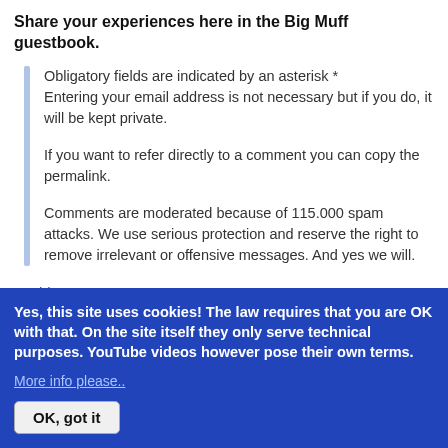Share your experiences here in the Big Muff guestbook.
Obligatory fields are indicated by an asterisk * Entering your email address is not necessary but if you do, it will be kept private.

If you want to refer directly to a comment you can copy the permalink.

Comments are moderated because of 115.000 spam attacks. We use serious protection and reserve the right to remove irrelevant or offensive messages. And yes we will.
Add new comment
Yes, this site uses cookies! The law requires that you are OK with that. On the site itself they only serve technical purposes. YouTube videos however pose their own terms.
More info please..
OK, got it